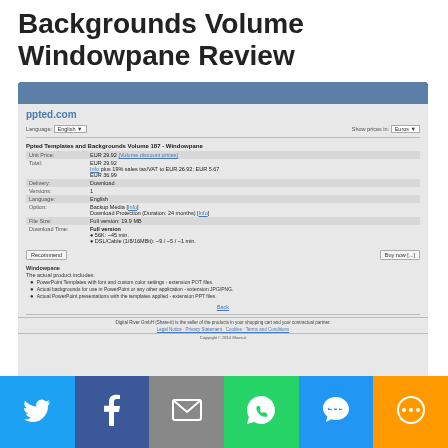Backgrounds Volume Windowpane Review
[Figure (screenshot): Screenshot of ppted.com product page for Ppted Templates and Backgrounds Volume 187 - Windowpane, showing product details, pricing in EUR, delivery options, file size, download time, and product description with bullet points.]
[Figure (infographic): Social sharing bar with six buttons: Twitter (blue), Facebook (dark blue), Email (gray), WhatsApp (green), SMS (blue), and More (orange).]